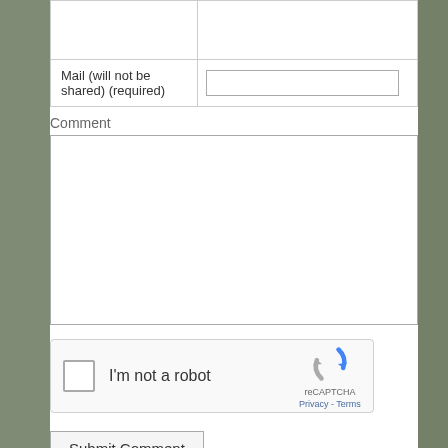|  |  |
| --- | --- |
|  |  |
| Mail (will not be shared) (required) |  |
Comment
[Figure (screenshot): Large empty comment textarea input box]
[Figure (screenshot): reCAPTCHA widget with checkbox labeled I'm not a robot, reCAPTCHA logo, Privacy and Terms links]
Submit Comment